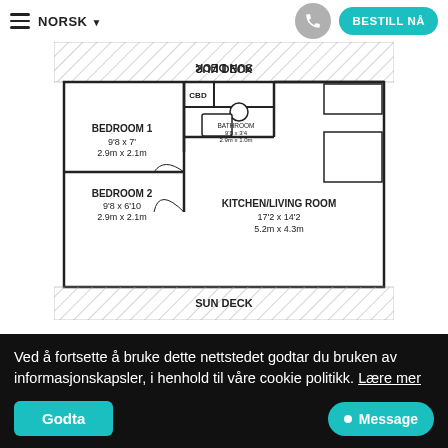≡ NORSK ▼  [phone icon]  BESTILL NÅ
[Figure (engineering-diagram): Apartment floor plan showing: SUN DECK (top, with hatched pattern), BEDROOM 1 (9'8 x 7', 2.9m x 2.1m), BEDROOM 2 (9'8 x 6'10, 2.9m x 2.1m), CBD closet, BATHROOM (9'8 x 3'4, 2.9m x 1.0m), KITCHEN/LIVING ROOM (17'2 x 14'2, 5.2m x 4.3m), SUN DECK (bottom, with hatched pattern)]
Ved å fortsette å bruke dette nettstedet godtar du bruken av informasjonskapsler, i henhold til våre cookie politikk. Lære mer
Godta
Message